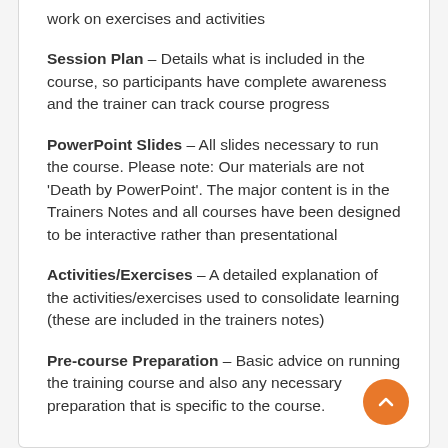work on exercises and activities
Session Plan – Details what is included in the course, so participants have complete awareness and the trainer can track course progress
PowerPoint Slides – All slides necessary to run the course. Please note: Our materials are not 'Death by PowerPoint'. The major content is in the Trainers Notes and all courses have been designed to be interactive rather than presentational
Activities/Exercises – A detailed explanation of the activities/exercises used to consolidate learning (these are included in the trainers notes)
Pre-course Preparation – Basic advice on running the training course and also any necessary preparation that is specific to the course.